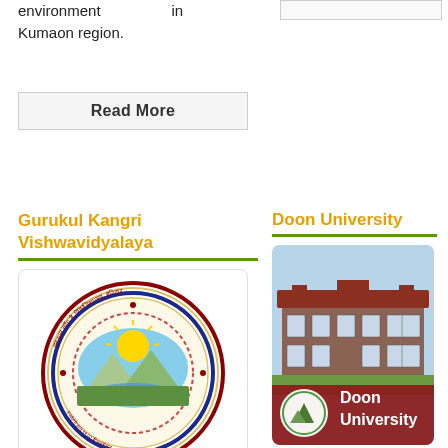environment in Kumaon region.
Read More
Gurukul Kangri Vishwavidyalaya
[Figure (logo): Gurukul Kangri Vishwavidyalaya circular seal/emblem with Hindi text and landscape imagery]
gurukul  Kangri Vishwavidyalaya  was established by Swami
Doon University
[Figure (photo): Doon University building photo with red brick colonial architecture, overlaid with Doon University logo and text]
Doon  University  is well-known university in Uttarakhand as well as  in  India.  The university started first